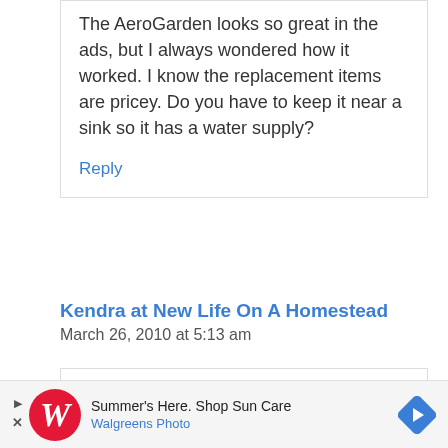The AeroGarden looks so great in the ads, but I always wondered how it worked. I know the replacement items are pricey. Do you have to keep it near a sink so it has a water supply?
Reply
Kendra at New Life On A Homestead
March 26, 2010 at 5:13 am
Melissa-
[Figure (infographic): Walgreens advertisement banner: 'Summer's Here. Shop Sun Care' with Walgreens Photo logo and navigation arrow]